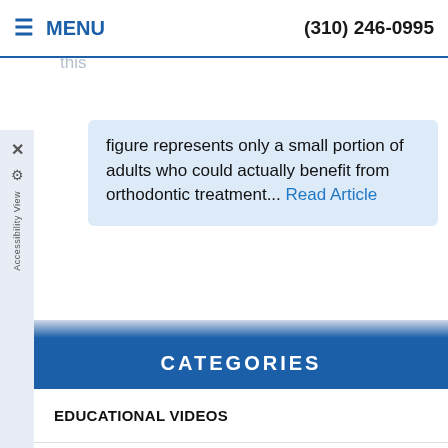MENU | (310) 246-0995
old" for braces. In fact, nowadays about one out of every five orthodontic patients is an adult. Yet this figure represents only a small portion of adults who could actually benefit from orthodontic treatment... Read Article
EDUCATIONAL VIDEOS
COSMETIC & GENERAL DENTISTRY
EMERGENCY CARE
ENDODONTICS